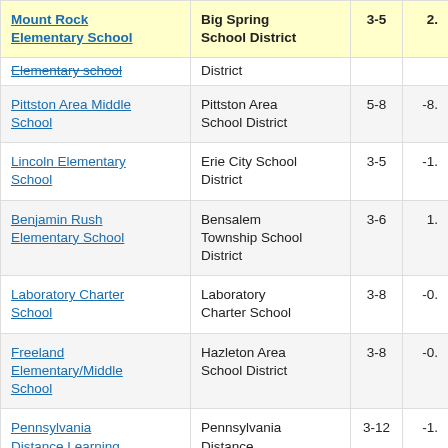| School Name | District | Grades | Value |
| --- | --- | --- | --- |
| Mount Rock Elementary School | Big Spring School District | 3-5 | 2. |
| Elementary School (partial) | District (partial) |  |  |
| Pittston Area Middle School | Pittston Area School District | 5-8 | -8. |
| Lincoln Elementary School | Erie City School District | 3-5 | -1. |
| Benjamin Rush Elementary School | Bensalem Township School District | 3-6 | 1. |
| Laboratory Charter School | Laboratory Charter School | 3-8 | -0. |
| Freeland Elementary/Middle School | Hazleton Area School District | 3-8 | -0. |
| Pennsylvania Distance Learning Charter School | Pennsylvania Distance Learning Charter School | 3-12 | -1. |